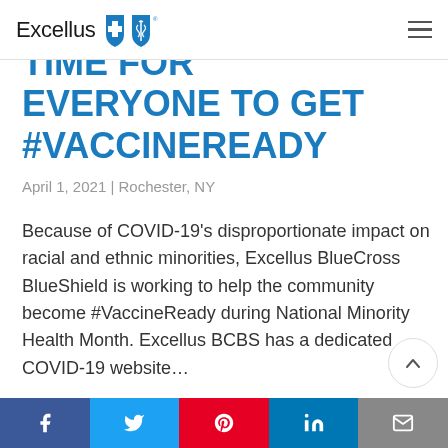Excellus BlueCross BlueShield
TIME FOR EVERYONE TO GET #VACCINEREADY
April 1, 2021 | Rochester, NY
Because of COVID-19’s disproportionate impact on racial and ethnic minorities, Excellus BlueCross BlueShield is working to help the community become #VaccineReady during National Minority Health Month. Excellus BCBS has a dedicated COVID-19 website…
Social share bar: Facebook, Twitter, Pinterest, LinkedIn, Email